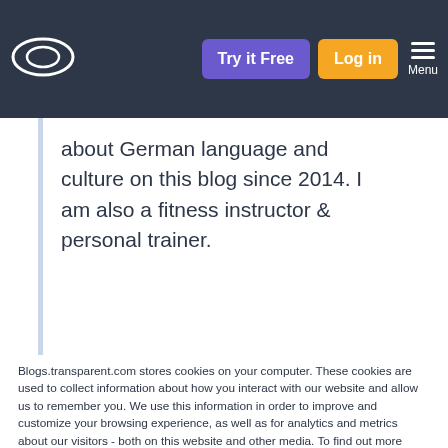Try it Free | Log in | Menu
about German language and culture on this blog since 2014. I am also a fitness instructor & personal trainer.
Blogs.transparent.com stores cookies on your computer. These cookies are used to collect information about how you interact with our website and allow us to remember you. We use this information in order to improve and customize your browsing experience, as well as for analytics and metrics about our visitors - both on this website and other media. To find out more about the cookies we use, see our Privacy Policy.
If you decline, your information won't be tracked when you visit this website. A single cookie will be used in your browser to remember your preference not to be tracked.
Accept | Decline